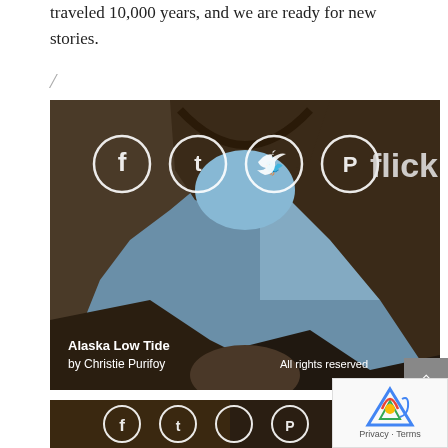traveled 10,000 years, and we are ready for new stories.
/
[Figure (photo): Flickr photo of rocky coastal arch formation in Alaska at low tide, with ocean and mountains visible through the arch opening. Social sharing icons (Facebook, Tumblr, Twitter, Pinterest) overlaid at top. Caption reads 'Alaska Low Tide by Christie Purifoy' and 'All rights reserved'.]
[Figure (photo): Second Flickr photo (partially visible at bottom), dark interior scene with social sharing icons overlaid at top.]